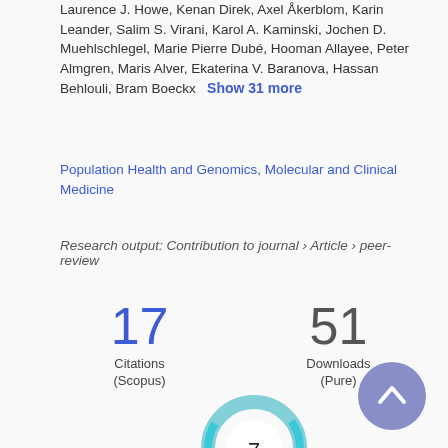Laurence J. Howe, Kenan Direk, Axel Åkerblom, Karin Leander, Salim S. Virani, Karol A. Kaminski, Jochen D. Muehlschlegel, Marie Pierre Dubé, Hooman Allayee, Peter Almgren, Maris Alver, Ekaterina V. Baranova, Hassan Behlouli, Bram Boeckx   Show 31 more
Population Health and Genomics, Molecular and Clinical Medicine
Research output: Contribution to journal › Article › peer-review
17 Citations (Scopus)
51 Downloads (Pure)
[Figure (donut-chart): Donut chart with number 7 in center, teal/blue gradient ring, partial view at bottom of page]
[Figure (other): Round scroll-to-top button with upward chevron, lavender/purple color, bottom right corner]